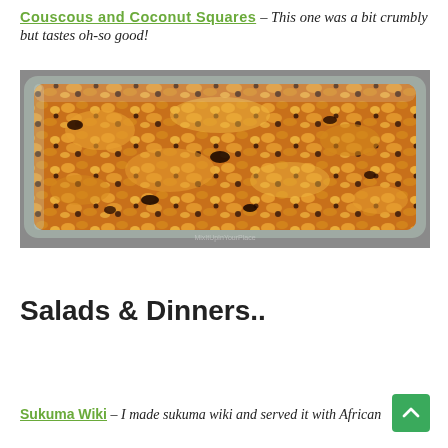Couscous and Coconut Squares – This one was a bit crumbly but tastes oh-so good!
[Figure (photo): A glass baking dish filled with crumbly golden-brown couscous and coconut squares with dark chocolate chips, photographed from above on a grey surface. Watermark visible at bottom.]
Salads & Dinners..
Sukuma Wiki – I made sukuma wiki and served it with African